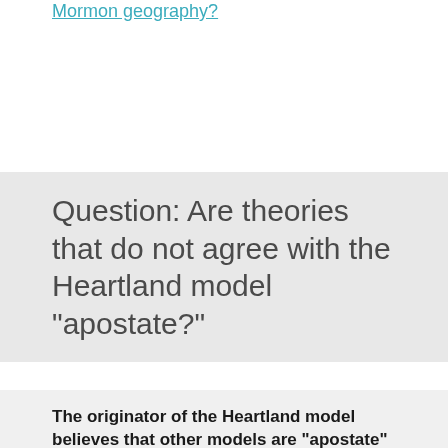Mormon geography?
Question: Are theories that do not agree with the Heartland model "apostate?"
The originator of the Heartland model believes that other models are "apostate"